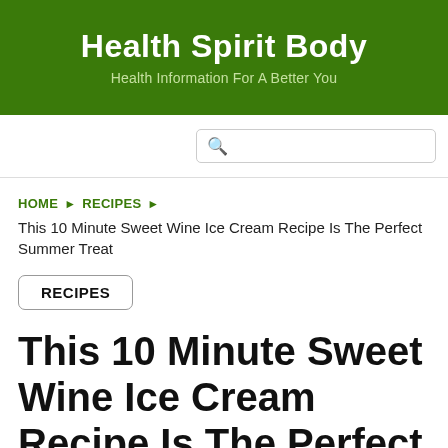Health Spirit Body
Health Information For A Better You
[Figure (other): Search bar input field with magnifying glass icon]
HOME ▶ RECIPES ▶
This 10 Minute Sweet Wine Ice Cream Recipe Is The Perfect Summer Treat
RECIPES
This 10 Minute Sweet Wine Ice Cream Recipe Is The Perfect